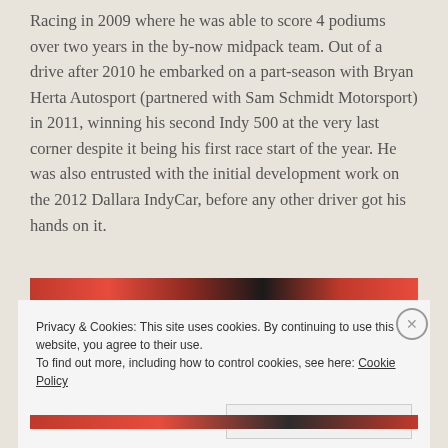Racing in 2009 where he was able to score 4 podiums over two years in the by-now midpack team. Out of a drive after 2010 he embarked on a part-season with Bryan Herta Autosport (partnered with Sam Schmidt Motorsport) in 2011, winning his second Indy 500 at the very last corner despite it being his first race start of the year. He was also entrusted with the initial development work on the 2012 Dallara IndyCar, before any other driver got his hands on it.
[Figure (photo): Partial view of a red racing car or related motorsport imagery, shown as a horizontal strip]
Privacy & Cookies: This site uses cookies. By continuing to use this website, you agree to their use.
To find out more, including how to control cookies, see here: Cookie Policy
Close and accept